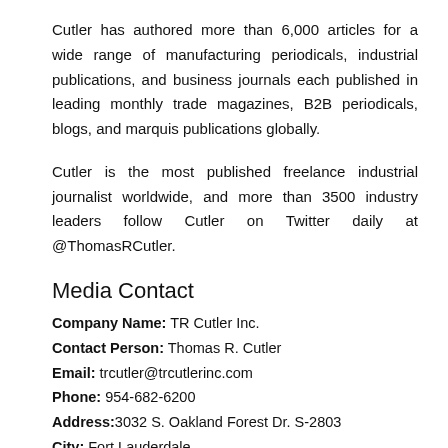Cutler has authored more than 6,000 articles for a wide range of manufacturing periodicals, industrial publications, and business journals each published in leading monthly trade magazines, B2B periodicals, blogs, and marquis publications globally.
Cutler is the most published freelance industrial journalist worldwide, and more than 3500 industry leaders follow Cutler on Twitter daily at @ThomasRCutler.
Media Contact
Company Name: TR Cutler Inc.
Contact Person: Thomas R. Cutler
Email: trcutler@trcutlerinc.com
Phone: 954-682-6200
Address: 3032 S. Oakland Forest Dr. S-2803
City: Fort Lauderdale
State: FLORIDA
Country: United States